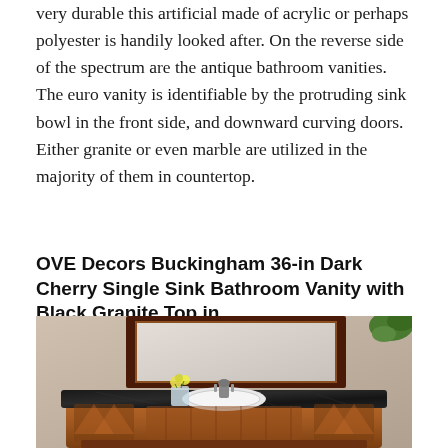very durable this artificial made of acrylic or perhaps polyester is handily looked after. On the reverse side of the spectrum are the antique bathroom vanities. The euro vanity is identifiable by the protruding sink bowl in the front side, and downward curving doors. Either granite or even marble are utilized in the majority of them in countertop.
OVE Decors Buckingham 36-in Dark Cherry Single Sink Bathroom Vanity with Black Granite Top in
[Figure (photo): Photo of an OVE Decors Buckingham bathroom vanity with dark cherry wood cabinet featuring ornate carved panels, black granite countertop, undermount white oval sink, chrome faucet, flower arrangement in glass vase, and a wood-framed rectangular mirror mounted above. Green plant visible in upper right corner. Beige/taupe wall background.]